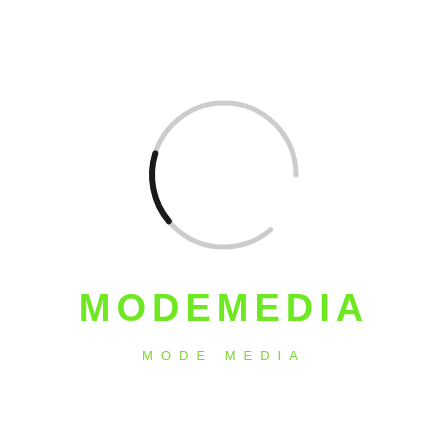[Figure (logo): Circle logo: a thin ring outline, mostly light gray with a black arc on the lower-left portion, forming an incomplete circle on white background.]
MODEMEDIA
MODE MEDIA